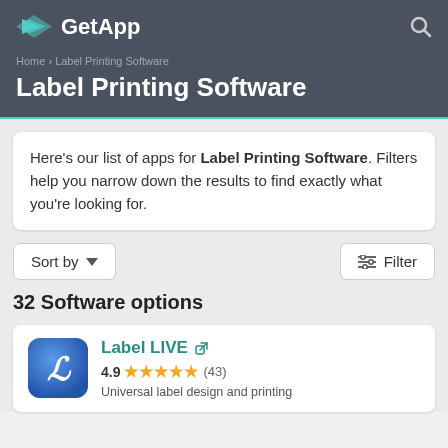GetApp
Home › Label Printing Software
Label Printing Software
Here's our list of apps for Label Printing Software. Filters help you narrow down the results to find exactly what you're looking for.
Sort by ▼
Filter
32 Software options
Label LIVE
4.9 ★★★★★ (43)
Universal label design and printing